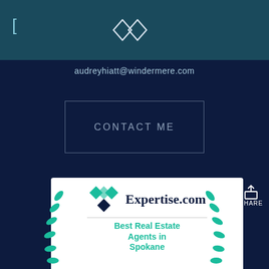audreyhiatt@windermere.com
CONTACT ME
[Figure (logo): Expertise.com badge with teal diamond logo and laurel wreath. Text reads: Expertise.com Best Real Estate Agents in Spokane]